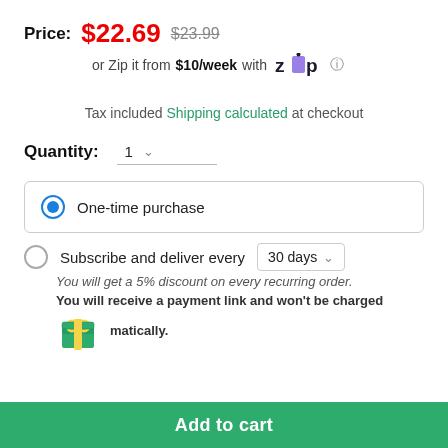Price: $22.69  $23.99
or Zip it from $10/week with Zip
Tax included Shipping calculated at checkout
Quantity: 1
One-time purchase
Subscribe and deliver every 30 days
You will get a 5% discount on every recurring order.
You will receive a payment link and won't be charged automatically.
Add to cart